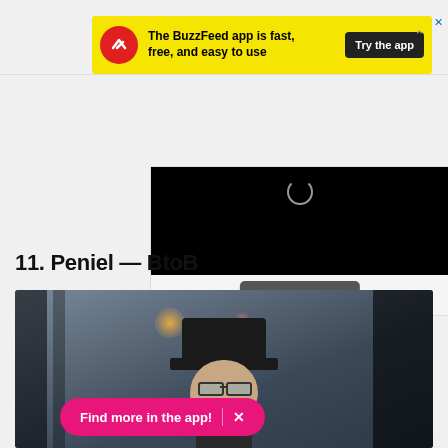[Figure (screenshot): BuzzFeed app advertisement banner with yellow background, red circular logo with white trending arrow, text 'The BuzzFeed app is fast, free, and easy to use', and a dark 'Try the app' button]
[Figure (screenshot): Video player area with black video frame showing loading spinner, and a 'Learn more' button below]
11. Peniel — BtoB
[Figure (photo): Person wearing a dark cap photographed in a blurred indoor setting with bokeh lighting]
Find more in the app!  ×